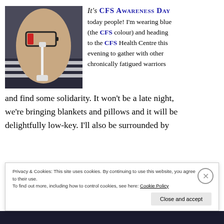[Figure (photo): A wrist/hand wearing a striped sleeve with a low-battery icon drawn on it and a white Lightning cable attached, suggesting CFS/chronic fatigue awareness.]
It's CFS Awareness Day
today people! I'm wearing blue (the CFS colour) and heading to the CFS Health Centre this evening to gather with other chronically fatigued warriors and find some solidarity. It won't be a late night, we're bringing blankets and pillows and it will be delightfully low-key. I'll also be surrounded by
Privacy & Cookies: This site uses cookies. By continuing to use this website, you agree to their use.
To find out more, including how to control cookies, see here: Cookie Policy
Close and accept